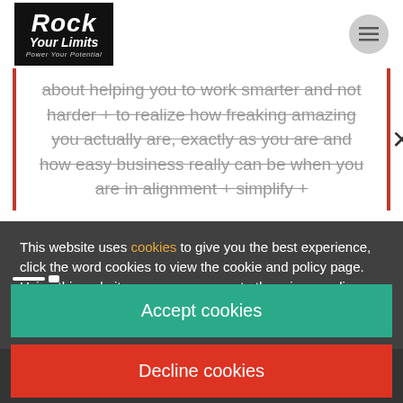[Figure (logo): Rock Your Limits logo - black box with white bold italic text 'Rock Your Limits' and tagline 'Power Your Potential']
about helping you to work smarter and not harder + to realize how freaking amazing you actually are, exactly as you are and how easy business really can be when you are in alignment + simplify +
This website uses cookies to give you the best experience, click the word cookies to view the cookie and policy page. Using this website means you agree to the privacy policy. You can agree to our cookie policy by clicking the 'Accept' button.
Accept cookies
Decline cookies